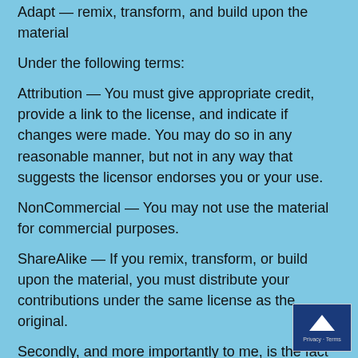Adapt — remix, transform, and build upon the material
Under the following terms:
Attribution — You must give appropriate credit, provide a link to the license, and indicate if changes were made. You may do so in any reasonable manner, but not in any way that suggests the licensor endorses you or your use.
NonCommercial — You may not use the material for commercial purposes.
ShareAlike — If you remix, transform, or build upon the material, you must distribute your contributions under the same license as the original.
Secondly, and more importantly to me, is the fact that I spent many years, mostly alone, on a brutally steep learning curve, and while this no doubt ultimately